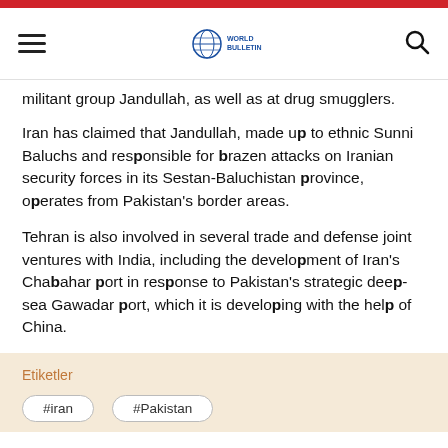World Bulletin
militant group Jandullah, as well as at drug smugglers.
Iran has claimed that Jandullah, made up to ethnic Sunni Baluchs and responsible for brazen attacks on Iranian security forces in its Sestan-Baluchistan province, operates from Pakistan's border areas.
Tehran is also involved in several trade and defense joint ventures with India, including the development of Iran's Chabahar port in response to Pakistan's strategic deep-sea Gawadar port, which it is developing with the help of China.
Etiketler
#iran
#Pakistan